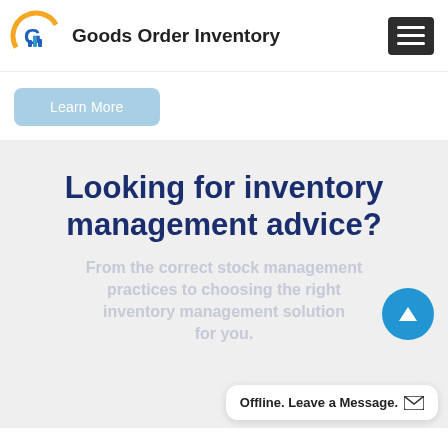[Figure (logo): Goods Order Inventory logo: circular icon with G and bar chart graphic in blue/orange, followed by bold text 'Goods Order Inventory']
[Figure (other): Hamburger menu button (dark grey/black rectangle with three horizontal white lines)]
Learn More
Looking for inventory management advice?
Faded/watermarked body text describing inventory management content (partially visible, greyed out)
[Figure (other): Blue circular scroll-to-top button with upward arrow]
Offline. Leave a Message.